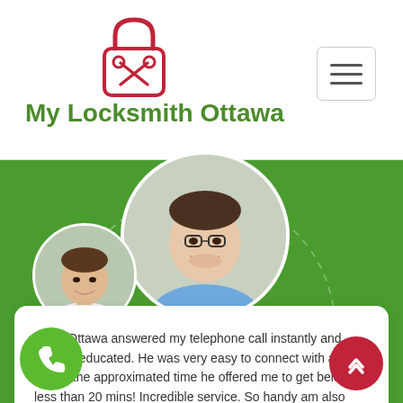[Figure (logo): My Locksmith Ottawa logo — red padlock with crossed keys]
My Locksmith Ottawa
[Figure (illustration): Three circular portrait photos of men on a green background: large centered at top, small on left, and one with red border at bottom center. A dashed circle connects them.]
smith Ottawa answered my telephone call instantly and beyond educated. He was very easy to connect with also defeat the approximated time he offered me to get below. less than 20 mins! Incredible service. So handy am also good. 10/10 recommend. I'm beyond eased and reall